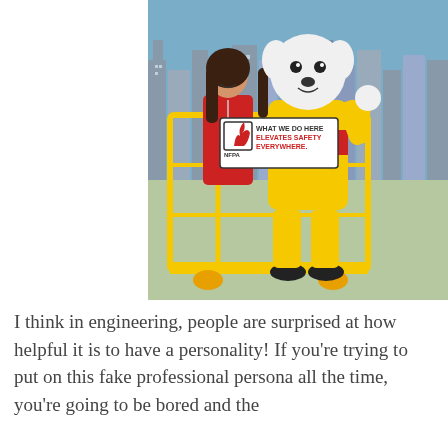[Figure (photo): A woman in a red dress with a conference badge stands next to an NFPA fire safety mascot (a dog in a yellow and red costume) inside a yellow elevated work platform/lift cage. The background shows a city skyline. A sign on the platform reads 'WHAT WE DO HERE ELEVATES SAFETY EVERYWHERE.' with the NFPA logo.]
I think in engineering, people are surprised at how helpful it is to have a personality! If you're trying to put on this fake professional persona all the time, you're going to be bored and the